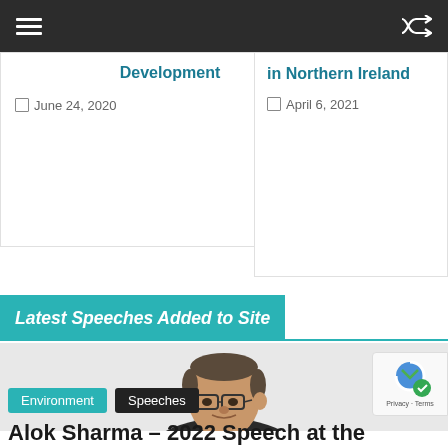Navigation bar with menu and shuffle icons
Development
June 24, 2020
in Northern Ireland
April 6, 2021
Latest Speeches Added to Site
[Figure (photo): Portrait photo of Alok Sharma, a man wearing glasses and a dark suit with a light blue tie]
Environment   Speeches
Alok Sharma – 2022 Speech at the